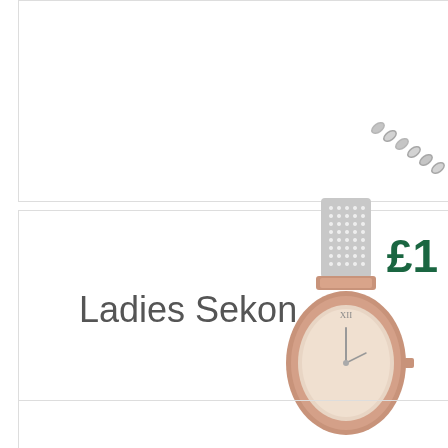[Figure (photo): Partial view of a silver chain/bracelet jewelry item in the top card section]
£1
Ladies Sekon
[Figure (photo): Ladies Sekonda watch with crystal-studded bracelet strap and rose gold case with Roman numerals on dial]